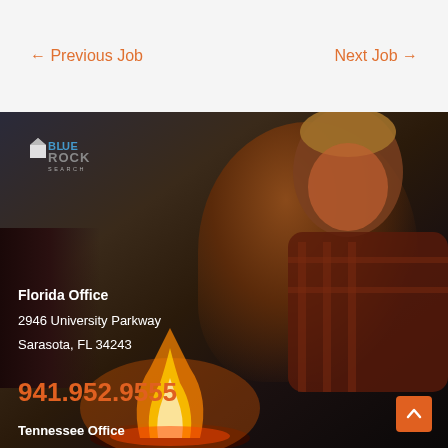← Previous Job    Next Job →
[Figure (photo): Background photo of a person in a plaid shirt and knit hat sitting by a campfire at night, with a BlueRock Search logo watermark in the upper left]
Florida Office
2946 University Parkway
Sarasota, FL 34243
941.952.9555
Tennessee Office